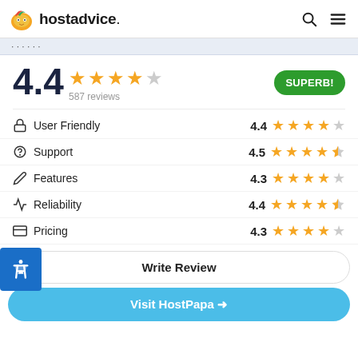hostadvice. (logo with search and menu icons)
4.4 ★★★★☆ 587 reviews SUPERB!
User Friendly 4.4 ★★★★☆
Support 4.5 ★★★★½
Features 4.3 ★★★★☆
Reliability 4.4 ★★★★½
Pricing 4.3 ★★★★☆
Write Review
Visit HostPapa →